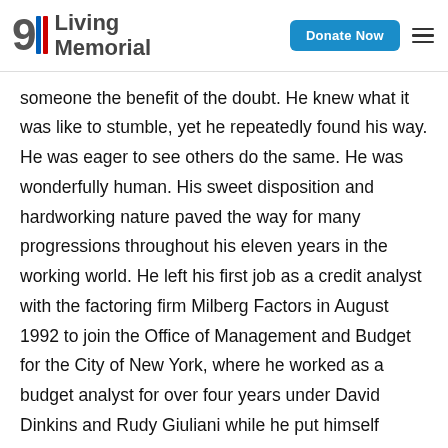911 Living Memorial | Donate Now
someone the benefit of the doubt. He knew what it was like to stumble, yet he repeatedly found his way. He was eager to see others do the same. He was wonderfully human. His sweet disposition and hardworking nature paved the way for many progressions throughout his eleven years in the working world. He left his first job as a credit analyst with the factoring firm Milberg Factors in August 1992 to join the Office of Management and Budget for the City of New York, where he worked as a budget analyst for over four years under David Dinkins and Rudy Giuliani while he put himself through graduate school at night.